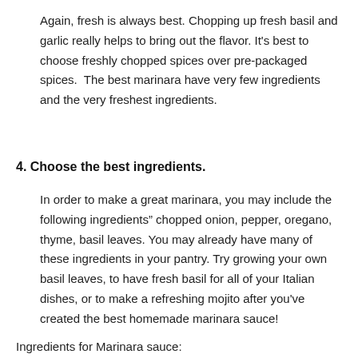Again, fresh is always best. Chopping up fresh basil and garlic really helps to bring out the flavor. It's best to choose freshly chopped spices over pre-packaged spices.  The best marinara have very few ingredients and the very freshest ingredients.
4. Choose the best ingredients.
In order to make a great marinara, you may include the following ingredients” chopped onion, pepper, oregano, thyme, basil leaves. You may already have many of these ingredients in your pantry. Try growing your own basil leaves, to have fresh basil for all of your Italian dishes, or to make a refreshing mojito after you've created the best homemade marinara sauce!
Ingredients for Marinara sauce: